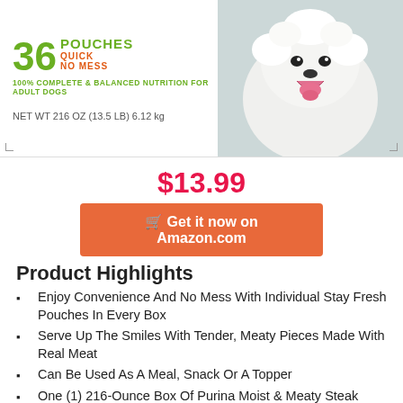[Figure (photo): Product image of dog food box showing '36 POUCHES QUICK NO MESS 100% COMPLETE & BALANCED NUTRITION FOR ADULT DOGS NET WT 216 OZ (13.5 LB) 6.12 kg' with a white fluffy dog on the right side]
$13.99
Get it now on Amazon.com
Product Highlights
Enjoy Convenience And No Mess With Individual Stay Fresh Pouches In Every Box
Serve Up The Smiles With Tender, Meaty Pieces Made With Real Meat
Can Be Used As A Meal, Snack Or A Topper
One (1) 216-Ounce Box Of Purina Moist & Meaty Steak Flavor Dog Food
100% Complete & Balanced Nutrition For Adult Dogs